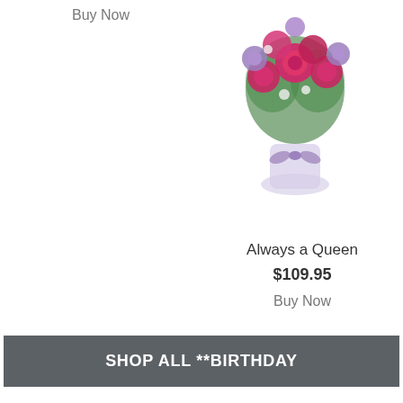Buy Now
[Figure (photo): Flower arrangement - Always a Queen with pink and purple roses in a glass vase with purple ribbon]
Always a Queen
$109.95
Buy Now
[Figure (photo): Broken image placeholder for Designer's Choice Flower Arrangement]
Designer's Choice Flower Arrangement
Designer's Choice
$79.95
Buy Now
SHOP ALL **BIRTHDAY